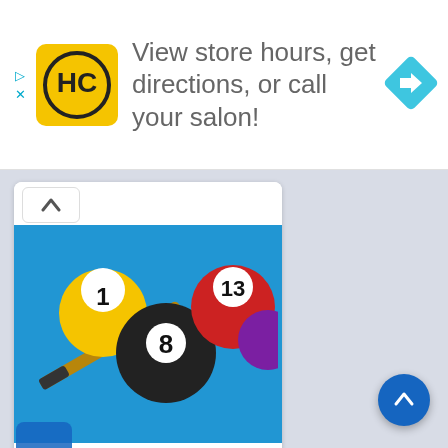[Figure (screenshot): Advertisement banner with HC salon logo, text 'View store hours, get directions, or call your salon!', and a blue navigation diamond icon]
View store hours, get directions, or call your salon!
[Figure (photo): 8 Ball Pool app icon showing billiard balls numbered 1, 8, and 13 on a blue background with a cue stick]
8 Ball Pool MOD APK 5.8.2
Version 5.8.2
[Figure (other): 4.5 star rating shown with yellow stars]